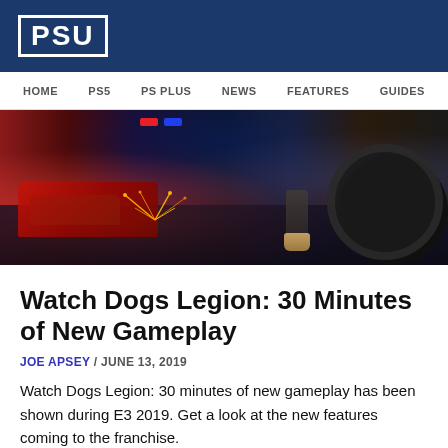PSU
HOME  PS5  PS PLUS  NEWS  FEATURES  GUIDES
[Figure (photo): Dark cinematic screenshot from Watch Dogs Legion showing a city street at night with a red car, police lights, sparks, and a character's legs near a motorcycle wheel]
Watch Dogs Legion: 30 Minutes of New Gameplay
JOE APSEY / JUNE 13, 2019
Watch Dogs Legion: 30 minutes of new gameplay has been shown during E3 2019. Get a look at the new features coming to the franchise.
Read more